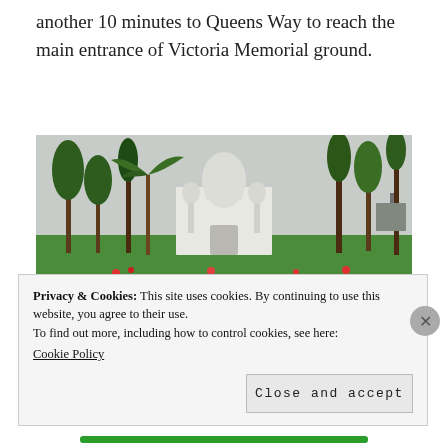another 10 minutes to Queens Way to reach the main entrance of Victoria Memorial ground.
[Figure (photo): Photograph of Victoria Memorial building in Kolkata, India, viewed from the garden path. The white domed building is visible in the background surrounded by tall palm trees and lush green lawns. Red flowers are visible in the foreground garden, with a decorative iron fence. The sky is overcast and grey.]
Privacy & Cookies: This site uses cookies. By continuing to use this website, you agree to their use.
To find out more, including how to control cookies, see here: Cookie Policy
Close and accept